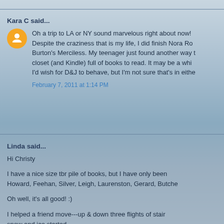Kara C said...
Oh a trip to LA or NY sound marvelous right about now! Despite the craziness that is my life, I did finish Nora Rob Burton's Merciless. My teenager just found another way t closet (and Kindle) full of books to read. It may be a whi I'd wish for D&J to behave, but I'm not sure that's in eithe
February 7, 2011 at 1:14 PM
Linda said...
Hi Christy
I have a nice size tbr pile of books, but I have only been Howard, Feehan, Silver, Leigh, Laurenston, Gerard, Butche
Oh well, it's all good! :)
I helped a friend move---up & down three flights of stair snow and ice started.